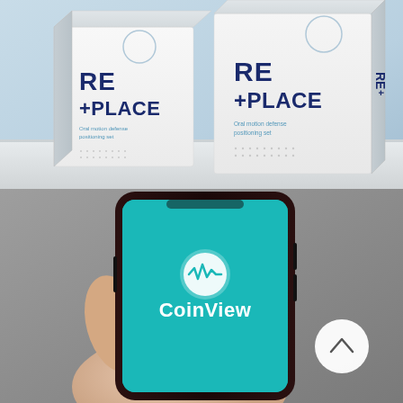[Figure (photo): Product photo showing two white rectangular boxes labeled 'RE +PLACE' with blue text and a light blue background. The boxes appear to be software or medical device packaging with small text underneath the brand name.]
[Figure (photo): A hand holding a smartphone with a teal/turquoise screen displaying the CoinView app splash screen with a white circular logo containing a waveform/chart icon and the bold white text 'CoinView'. A white circular button with a caret/up arrow is visible on the right side.]